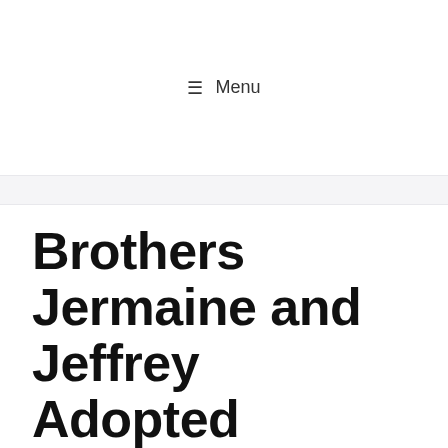≡ Menu
Brothers Jermaine and Jeffrey Adopted
11/26/2013 by ADMIN